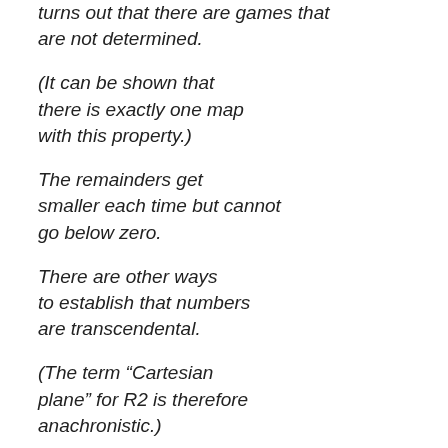turns out that there are games that are not determined.
(It can be shown that there is exactly one map with this property.)
The remainders get smaller each time but cannot go below zero.
There are other ways to establish that numbers are transcendental.
(The term “Cartesian plane” for R2 is therefore anachronistic.)